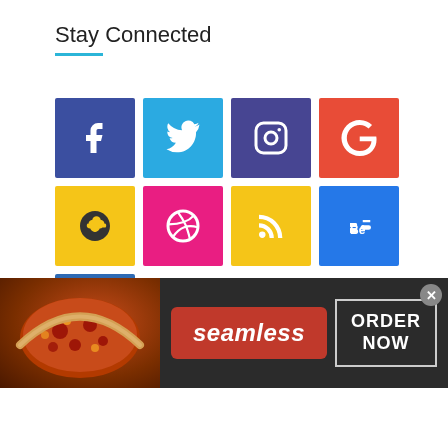Stay Connected
[Figure (infographic): Grid of 9 social media icon buttons: Facebook (blue/purple), Twitter (blue), Instagram (dark purple), Google+ (red), Snapchat/another (yellow), Dribbble (pink), RSS (yellow), Behance (blue), Vimeo (blue)]
Join Us On Facebook
[Figure (infographic): Advertisement banner for Seamless food delivery service. Dark background with pizza image on left, red Seamless logo in center, 'ORDER NOW' button outlined in white on right. Close button (x) in top right corner.]